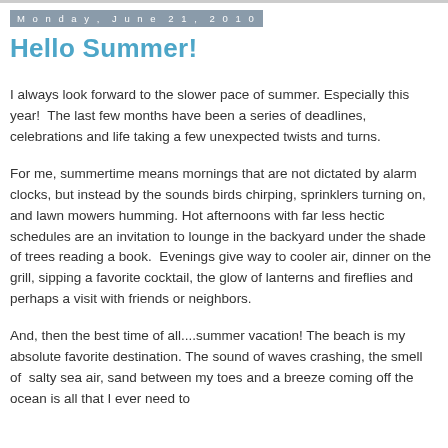Monday, June 21, 2010
Hello Summer!
I always look forward to the slower pace of summer. Especially this year!  The last few months have been a series of deadlines, celebrations and life taking a few unexpected twists and turns.
For me, summertime means mornings that are not dictated by alarm clocks, but instead by the sounds birds chirping, sprinklers turning on, and lawn mowers humming. Hot afternoons with far less hectic schedules are an invitation to lounge in the backyard under the shade of trees reading a book.  Evenings give way to cooler air, dinner on the grill, sipping a favorite cocktail, the glow of lanterns and fireflies and perhaps a visit with friends or neighbors.
And, then the best time of all....summer vacation! The beach is my absolute favorite destination. The sound of waves crashing, the smell of  salty sea air, sand between my toes and a breeze coming off the ocean is all that I ever need to